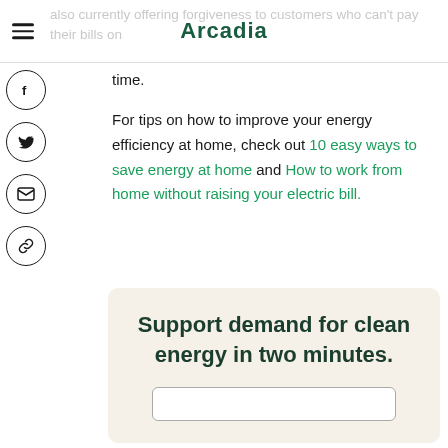Arcadia
also currently offering forgiveness to customers who can't pay their bills on time.
For tips on how to improve your energy efficiency at home, check out 10 easy ways to save energy at home and How to work from home without raising your electric bill.
Support demand for clean energy in two minutes.